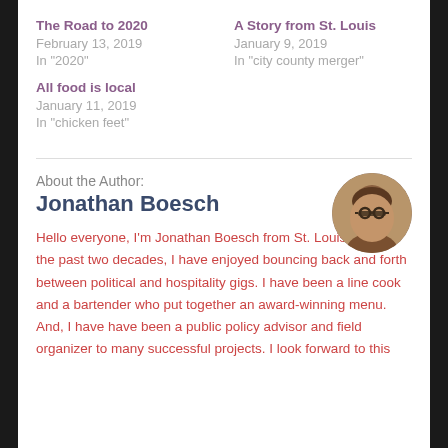The Road to 2020
February 13, 2019
In "2020"
A Story from St. Louis
January 9, 2019
In "city county merger"
All food is local
January 11, 2019
In "chicken feet"
About the Author:
Jonathan Boesch
[Figure (photo): Circular profile photo of Jonathan Boesch, a person wearing glasses]
Hello everyone, I'm Jonathan Boesch from St. Louis, MO. In the past two decades, I have enjoyed bouncing back and forth between political and hospitality gigs. I have been a line cook and a bartender who put together an award-winning menu. And, I have have been a public policy advisor and field organizer to many successful projects. I look forward to this